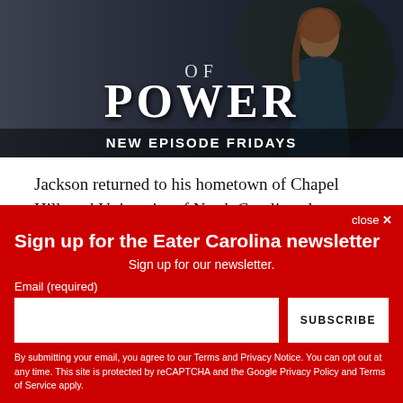[Figure (illustration): Advertisement banner for a TV show titled 'Power' with the text 'NEW EPISODE FRIDAYS' and a woman figure against a dark background.]
Jackson returned to his hometown of Chapel Hill, and University of North Carolina alma mater, after a lucrative 17-year culinary career —including a three-year tenure at New York City's beloved Michelin-starred Eleven Madison
Sign up for the Eater Carolina newsletter
Sign up for our newsletter.
Email (required)
SUBSCRIBE
By submitting your email, you agree to our Terms and Privacy Notice. You can opt out at any time. This site is protected by reCAPTCHA and the Google Privacy Policy and Terms of Service apply.